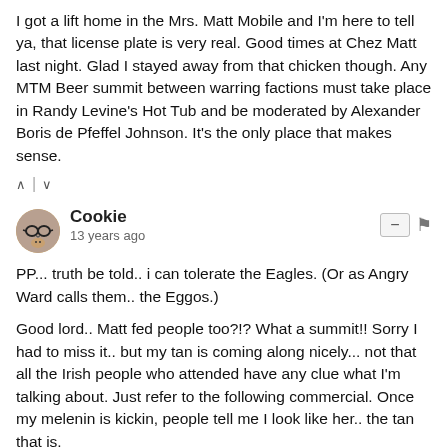I got a lift home in the Mrs. Matt Mobile and I'm here to tell ya, that license plate is very real. Good times at Chez Matt last night. Glad I stayed away from that chicken though. Any MTM Beer summit between warring factions must take place in Randy Levine's Hot Tub and be moderated by Alexander Boris de Pfeffel Johnson. It's the only place that makes sense.
^ | v
Cookie
13 years ago
PP... truth be told.. i can tolerate the Eagles. (Or as Angry Ward calls them.. the Eggos.)

Good lord.. Matt fed people too?!? What a summit!! Sorry I had to miss it.. but my tan is coming along nicely... not that all the Irish people who attended have any clue what I'm talking about. Just refer to the following commercial. Once my melenin is kickin, people tell me I look like her.. the tan that is.

<object width="425" height="344"><param name="movie"